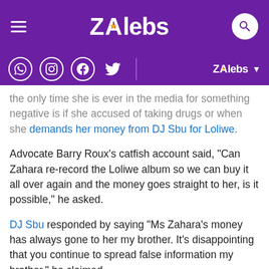ZAlebs
the only time she is ever in the media for something negative is if she accused of taking drugs or when she demands her money from DJ Sbu for Loliwe.
Advocate Barry Roux's catfish account said, "Can Zahara re-record the Loliwe album so we can buy it all over again and the money goes straight to her, is it possible," he asked.
DJ Sbu responded by saying "Ms Zahara's money has always gone to her my brother. It's disappointing that you continue to spread false information my brother," he claimed.
But Zahara refuted Sbu's claims and said he is a lying